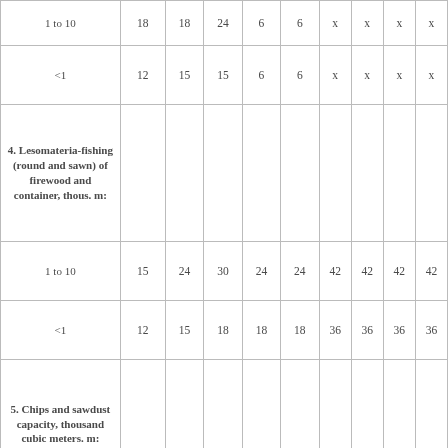| 1 to 10 | 18 | 18 | 24 | 6 | 6 | x | x | x | x |
| <1 | 12 | 15 | 15 | 6 | 6 | x | x | x | x |
| 4. Lesomateria-fishing (round and sawn) of firewood and container, thous. m: |  |  |  |  |  |  |  |  |  |
| 1 to 10 | 15 | 24 | 30 | 24 | 24 | 42 | 42 | 42 | 42 |
| <1 | 12 | 15 | 18 | 18 | 18 | 36 | 36 | 36 | 36 |
| 5. Chips and sawdust capacity, thousand cubic meters. m: |  |  |  |  |  |  |  |  |  |